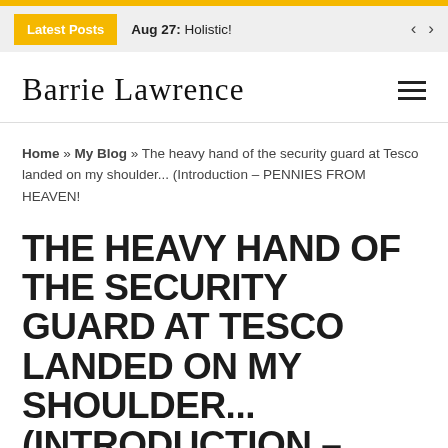Latest Posts | Aug 27: Holistic!
[Figure (logo): Barrie Lawrence cursive signature logo with hamburger menu icon]
Home » My Blog » The heavy hand of the security guard at Tesco landed on my shoulder... (Introduction – PENNIES FROM HEAVEN!
THE HEAVY HAND OF THE SECURITY GUARD AT TESCO LANDED ON MY SHOULDER... (INTRODUCTION – PENNIES FROM HEAVEN!